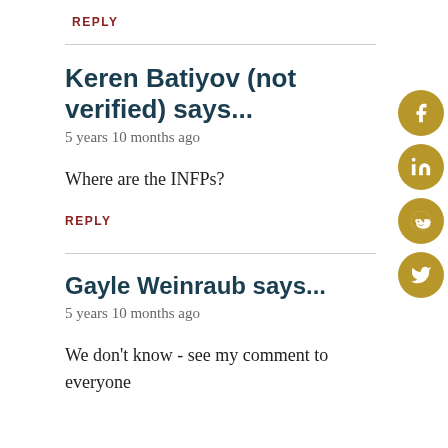REPLY
Keren Batiyov (not verified) says...
5 years 10 months ago
Where are the INFPs?
REPLY
Gayle Weinraub says...
5 years 10 months ago
We don't know - see my comment to everyone